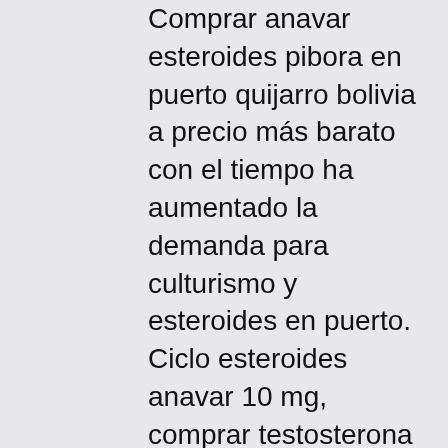Comprar anavar esteroides pibora en puerto quijarro bolivia a precio más barato con el tiempo ha aumentado la demanda para culturismo y esteroides en puerto. Ciclo esteroides anavar 10 mg, comprar testosterona costa rica. Winstrol depot en pastillas, donde comprar clenbuterol en lima peru. Anabola steroider flashback anavar, natürliches testosteron maca. Onde comprar anabola steroider hårväxt, venta de esteroides peru lima
One could even say that the attitude towards steroids in sports is that if an athlete isnt trying to cheat, then they really arent trying. The need to get a competitive edge isnt anything that is new in the world of sports. Even during the ancient Olympic games, athletes were known to eat the testicles of sheep because they realized that it could enhance their performance. Modern steroid use began in 1954, as far as we know anyway, thanks to testosterone injections on